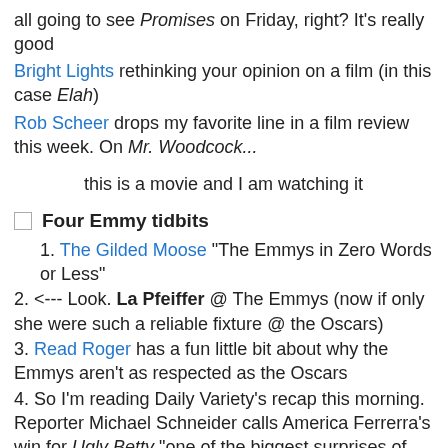all going to see Promises on Friday, right? It's really good
Bright Lights rethinking your opinion on a film (in this case Elah)
Rob Scheer drops my favorite line in a film review this week. On Mr. Woodcock...
this is a movie and I am watching it
Four Emmy tidbits
1. The Gilded Moose "The Emmys in Zero Words or Less"
2. <--- Look. La Pfeiffer @ The Emmys (now if only she were such a reliable fixture @ the Oscars)
3. Read Roger has a fun little bit about why the Emmys aren't as respected as the Oscars
4. So I'm reading Daily Variety's recap this morning. Reporter Michael Schneider calls America Ferrerra's win for Ugly Betty "one of the biggest surprises of the night" Seriously now Michael... that's just whack reporting unless that was a late sneak entry to the Bizarro Blog-a-Thon. How is America Ferrara winning something a surprise? We're talking about the same 'America's Sweetheart' America right? ...Headlining